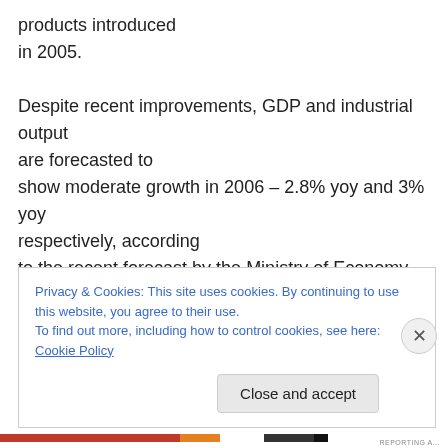products introduced in 2005.
Despite recent improvements, GDP and industrial output are forecasted to show moderate growth in 2006 – 2.8% yoy and 3% yoy respectively, according to the recent forecast by the Ministry of Economy. The forecast looks quite realistic as real sector performance this year will be negatively affected
Privacy & Cookies: This site uses cookies. By continuing to use this website, you agree to their use.
To find out more, including how to control cookies, see here: Cookie Policy
Close and accept